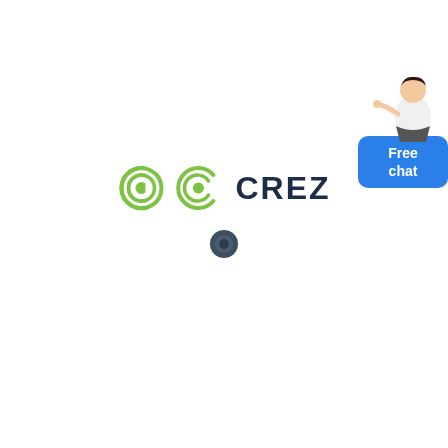[Figure (logo): CREZ company logo with green circular C icon and dark navy CREZ text]
[Figure (other): Dark circular loading spinner/dot below the CREZ logo]
[Figure (illustration): Free chat widget in top-right corner with a female presenter figure and blue button labeled 'Free chat']